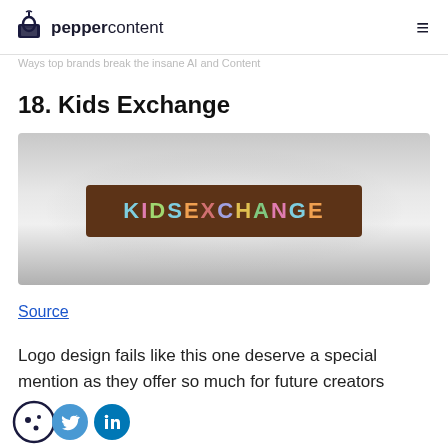peppercontent
18. Kids Exchange
[Figure (logo): Kids Exchange logo on a brown banner with colorful lettering reading KIDSEXCHANGE on a silver/grey background]
Source
Logo design fails like this one deserve a special mention as they offer so much for future creators